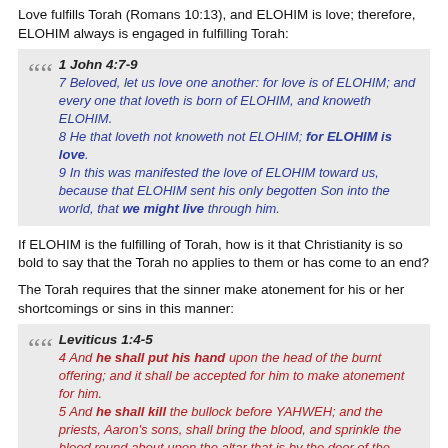Love fulfills Torah (Romans 10:13), and ELOHIM is love; therefore, ELOHIM always is engaged in fulfilling Torah:
1 John 4:7-9
7 Beloved, let us love one another: for love is of ELOHIM; and every one that loveth is born of ELOHIM, and knoweth ELOHIM.
8 He that loveth not knoweth not ELOHIM; for ELOHIM is love.
9 In this was manifested the love of ELOHIM toward us, because that ELOHIM sent his only begotten Son into the world, that we might live through him.
If ELOHIM is the fulfilling of Torah, how is it that Christianity is so bold to say that the Torah no applies to them or has come to an end?
The Torah requires that the sinner make atonement for his or her shortcomings or sins in this manner:
Leviticus 1:4-5
4 And he shall put his hand upon the head of the burnt offering; and it shall be accepted for him to make atonement for him.
5 And he shall kill the bullock before YAHWEH; and the priests, Aaron's sons, shall bring the blood, and sprinkle the blood round about upon the altar that is by the door of the tabernacle of the congregation.